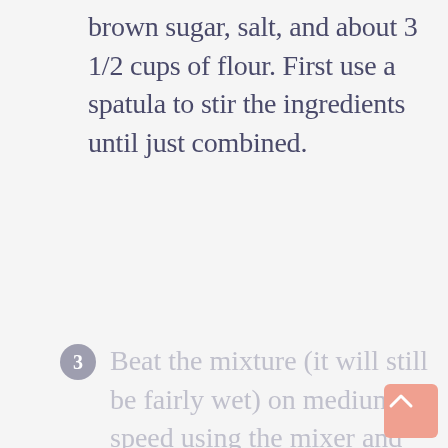brown sugar, salt, and about 3 1/2 cups of flour. First use a spatula to stir the ingredients until just combined.
3 Beat the mixture (it will still be fairly wet) on medium speed using the mixer and dough hook. Add the